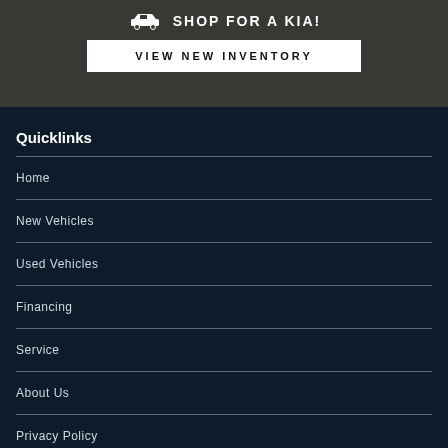SHOP FOR A KIA!
VIEW NEW INVENTORY
Quicklinks
Home
New Vehicles
Used Vehicles
Financing
Service
About Us
Privacy Policy